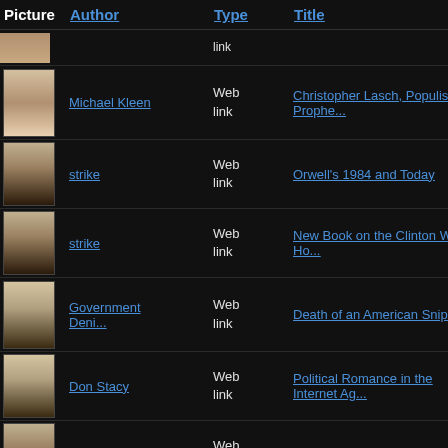| Picture | Author | Type | Title |
| --- | --- | --- | --- |
| [partial image] |  | link |  |
| [portrait photo] | Michael Kleen | Web link | Christopher Lasch, Populist Prophe... |
| [portrait photo] | strike | Web link | Orwell's 1984 and Today |
| [portrait photo] | strike | Web link | New Book on the Clinton White Ho... |
| [portrait photo] | Government Deni... | Web link | Death of an American Sniper |
| [portrait photo] | Don Stacy | Web link | Political Romance in the Internet Ag... |
| [portrait photo] | strike | Web link | Interview With Doug Casey |
| [portrait photo] | strike | Web link | Stack Silver Get Gold: How to Buy Bullion Without Getting... |
| [partial image] |  |  |  |